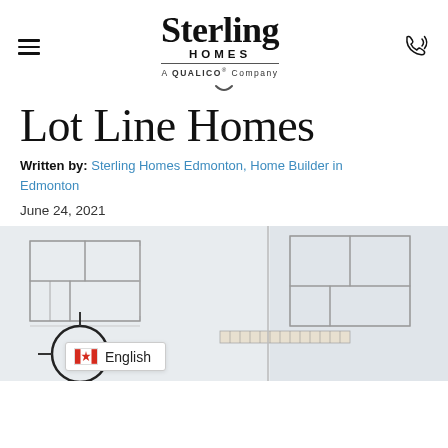Sterling Homes — A QUALICO Company
Lot Line Homes
Written by: Sterling Homes Edmonton, Home Builder in Edmonton
June 24, 2021
[Figure (photo): Architectural blueprint/floor plan drawings with drafting tools including a compass and ruler, shown in close-up from an angle]
English